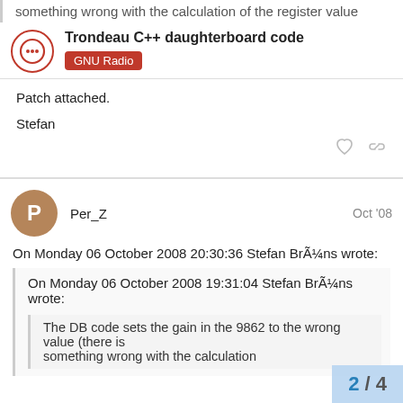something wrong with the calculation of the register value
Trondeau C++ daughterboard code
GNU Radio
Patch attached.
Stefan
Per_Z   Oct '08
On Monday 06 October 2008 20:30:36 Stefan BrÃ¼ns wrote:
On Monday 06 October 2008 19:31:04 Stefan BrÃ¼ns wrote:
The DB code sets the gain in the 9862 to the wrong value (there is something wrong with the calculation
2 / 4